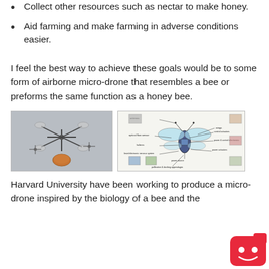Collect other resources such as nectar to make honey.
Aid farming and make farming in adverse conditions easier.
I feel the best way to achieve these goals would be to some form of airborne micro-drone that resembles a bee or preforms the same function as a honey bee.
[Figure (photo): Two images side by side: left shows small robotic drone devices next to a penny for scale; right shows an engineering diagram of a bee-inspired micro-drone with labeled components including antenna, optical flow sensor, airframe, halteres, brain/electronic nervous system, UV targeting sensor, power source, control actuators, power & control electronics, power actuators, and pollination & docking appendages.]
Harvard University have been working to produce a micro-drone inspired by the biology of a bee and the